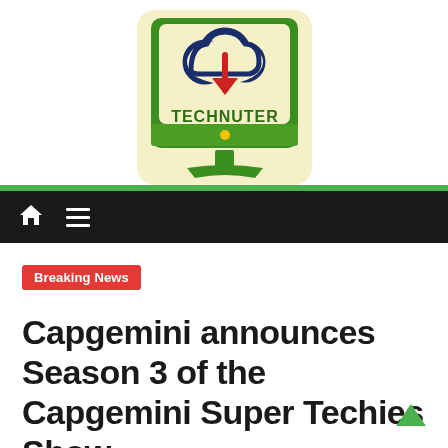[Figure (logo): Technuter logo: a monitor-shaped icon with a cloud and down arrow on a cream/yellow background, green monitor body, with 'TECHNUTER' text in dark green bold capitals and a yellow dot on a green bar]
[Figure (screenshot): Navigation bar with dark background, home icon and hamburger menu icon in white]
Breaking News
Capgemini announces Season 3 of the Capgemini Super Techies Show